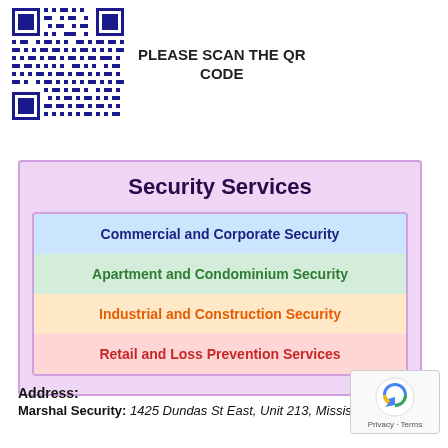[Figure (other): QR code image — dark blue/navy pattern on white background]
PLEASE SCAN THE QR CODE
[Figure (infographic): Security Services infographic box with lavender/pink background containing four colored rows: Commercial and Corporate Security (blue), Apartment and Condominium Security (green), Industrial and Construction Security (orange), Retail and Loss Prevention Services (red/pink)]
Address:
Marshal Security: 1425 Dundas St East, Unit 213, Mississauga,